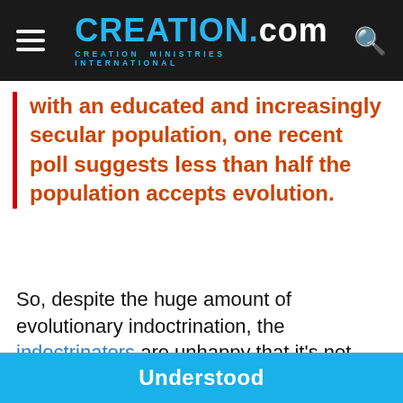CREATION.com — CREATION MINISTRIES INTERNATIONAL
with an educated and increasingly secular population, one recent poll suggests less than half the population accepts evolution.
So, despite the huge amount of evolutionary indoctrination, the indoctrinators are unhappy that it's not working on everyone. And this includes even deliberately misleading students so long as it convinces ... in
We use cookies to improve your experience on creation.com and related sites.
Privacy Policy
Understood
For those who have never had the